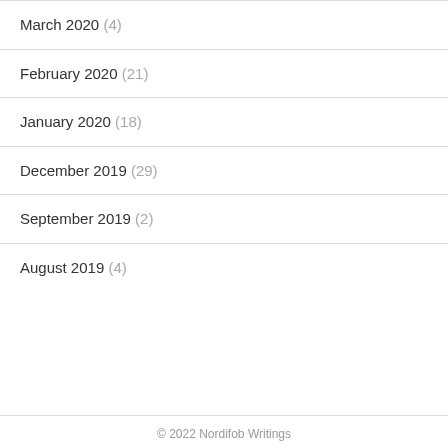March 2020 (4)
February 2020 (21)
January 2020 (18)
December 2019 (29)
September 2019 (2)
August 2019 (4)
© 2022 Nordifob Writings